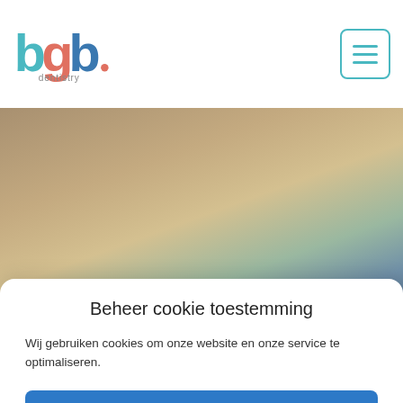[Figure (logo): bgb dentistry logo with teal and blue stylized letters]
[Figure (other): Hamburger menu button with teal border and three horizontal lines]
[Figure (photo): Blurred background photo of a dental office environment with warm and cool tones]
Beheer cookie toestemming
Wij gebruiken cookies om onze website en onze service te optimaliseren.
Alle cookies
Weigeren